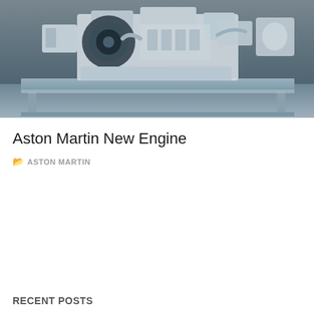[Figure (photo): Photo of an Aston Martin engine on a display stand, shown from the side. The engine is silver/white with complex mechanical components visible. Set against a dark blue-grey background with a metal display table underneath.]
Aston Martin New Engine
ASTON MARTIN
RECENT POSTS
Enclosed Car Trailer Weight